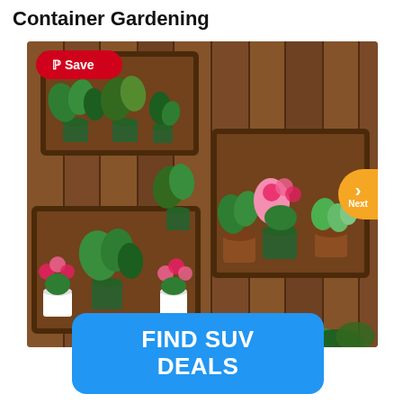Container Gardening
[Figure (photo): Wooden fence with rustic wooden shadow box shelves mounted on it, holding various potted plants including green foliage, pink flowering plants, and succulents. A red Pinterest Save button is overlaid in the top-left corner. An orange Next navigation button appears on the right side.]
[Figure (infographic): Blue rounded rectangle advertisement button with white bold text reading FIND SUV DEALS]